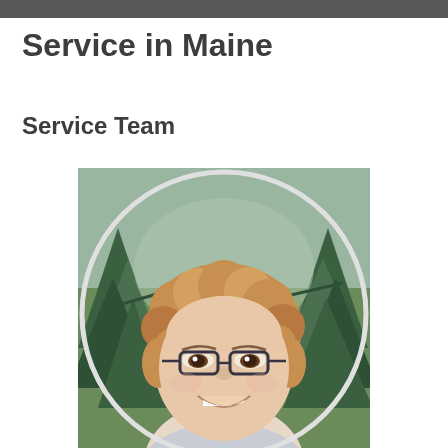Service in Maine
Service Team
[Figure (photo): Circular portrait photo of a woman with curly reddish-blonde hair, wearing dark-rimmed glasses and a light-colored top, smiling, with pine trees in the background.]